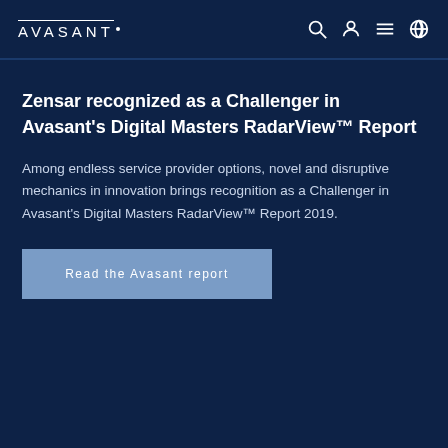AVASANT
Zensar recognized as a Challenger in Avasant’s Digital Masters RadarView™ Report
Among endless service provider options, novel and disruptive mechanics in innovation brings recognition as a Challenger in Avasant’s Digital Masters RadarView™ Report 2019.
Read the Avasant report